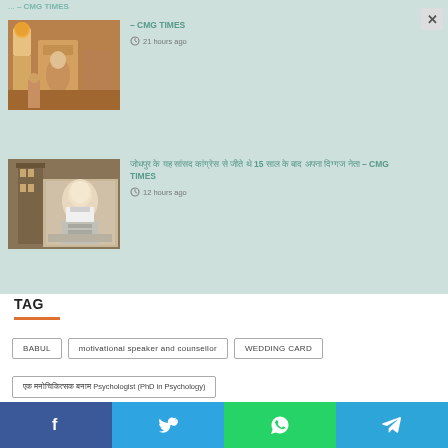[Figure (screenshot): Article thumbnail showing religious ceremony with people in traditional setting]
– CMG TIMES
21 hours ago
[Figure (photo): Photo of Narendra Modi in white kurta seated at desk]
जोधपुर के यह सांसद कांग्रेस से जीते थे 15 साल के बाद अपना दिग्गज नेता – CMG TIMES
12 hours ago
TAG
BABUL
motivational speaker and counsellor
WEDDING CARD
एक मनोचिकित्सक बनाम Psychologist (PhD in Psychology)